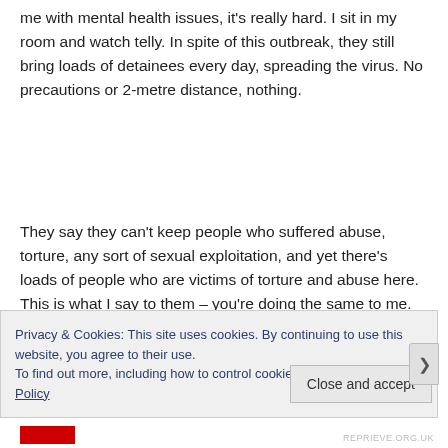me with mental health issues, it's really hard. I sit in my room and watch telly. In spite of this outbreak, they still bring loads of detainees every day, spreading the virus. No precautions or 2-metre distance, nothing.
They say they can't keep people who suffered abuse, torture, any sort of sexual exploitation, and yet there's loads of people who are victims of torture and abuse here. This is what I say to them – you're doing the same to me. It's abuse. You lock us up here for 11 hours a day for what? What are we going to do? You just feel so lethargic. A person with bad mental health gets
Privacy & Cookies: This site uses cookies. By continuing to use this website, you agree to their use.
To find out more, including how to control cookies, see here: Cookie Policy
Close and accept